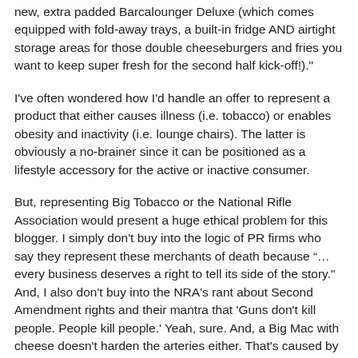new, extra padded Barcalounger Deluxe (which comes equipped with fold-away trays, a built-in fridge AND airtight storage areas for those double cheeseburgers and fries you want to keep super fresh for the second half kick-off!)."
I've often wondered how I'd handle an offer to represent a product that either causes illness (i.e. tobacco) or enables obesity and inactivity (i.e. lounge chairs). The latter is obviously a no-brainer since it can be positioned as a lifestyle accessory for the active or inactive consumer.
But, representing Big Tobacco or the National Rifle Association would present a huge ethical problem for this blogger. I simply don't buy into the logic of PR firms who say they represent these merchants of death because “…every business deserves a right to tell its side of the story." And, I also don't buy into the NRA's rant about Second Amendment rights and their mantra that 'Guns don't kill people. People kill people.' Yeah, sure. And, a Big Mac with cheese doesn't harden the arteries either. That's caused by an individual's DNA. Not.
In any event, I'll be interested in reading how, if at all, the enablers